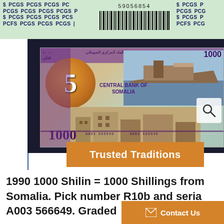[Figure (photo): PCGS graded banknote slab showing a 1990 Somalia 1000 Shilin banknote. The top shows a green PCGS label with barcode number 59056854 and repeating PCGS text. The banknote features a large '5' circle design, ship imagery, buildings, and text reading 'CENTRAL BANK OF SOMALIA' and '1000'. A magnifying glass icon appears in the top right of the banknote. Below the slab is an orange 'Trusted Traditions' banner.]
1990 1000 Shilin = 1000 Shillings from Somalia. Pick number R10b and serial A003 566649. Graded